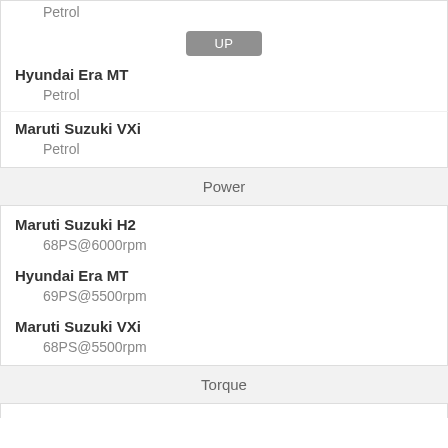Petrol
UP
Hyundai Era MT
Petrol
Maruti Suzuki VXi
Petrol
Power
Maruti Suzuki H2
68PS@6000rpm
Hyundai Era MT
69PS@5500rpm
Maruti Suzuki VXi
68PS@5500rpm
Torque